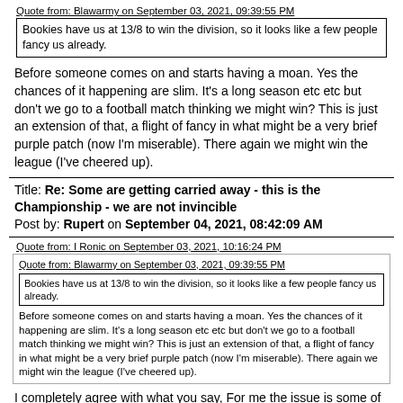Quote from: Blawarmy on September 03, 2021, 09:39:55 PM
Bookies have us at 13/8 to win the division, so it looks like a few people fancy us already.
Before someone comes on and starts having a moan. Yes the chances of it happening are slim. It's a long season etc etc but don't we go to a football match thinking we might win? This is just an extension of that, a flight of fancy in what might be a very brief purple patch (now I'm miserable). There again we might win the league (I've cheered up).
Title: Re: Some are getting carried away - this is the Championship - we are not invincible
Post by: Rupert on September 04, 2021, 08:42:09 AM
Quote from: I Ronic on September 03, 2021, 10:16:24 PM
Quote from: Blawarmy on September 03, 2021, 09:39:55 PM
Bookies have us at 13/8 to win the division, so it looks like a few people fancy us already.

Before someone comes on and starts having a moan. Yes the chances of it happening are slim. It's a long season etc etc but don't we go to a football match thinking we might win? This is just an extension of that, a flight of fancy in what might be a very brief purple patch (now I'm miserable). There again we might win the league (I've cheered up).
I completely agree with what you say, For me the issue is some of our colleagues have been playing up to the crowd, bragging that we are going to run away with the league. Now, it is possible that we may do just that, and I would love it if we